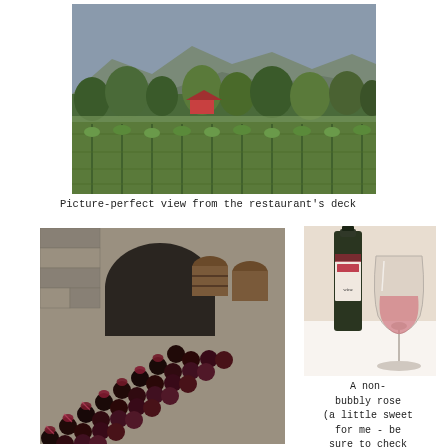[Figure (photo): Vineyard landscape viewed from a restaurant deck, with rows of vines in foreground and trees and mountains in background at dusk.]
Picture-perfect view from the restaurant's deck
[Figure (photo): Wine cellar with hundreds of wine bottles stacked in rows at an angle, stone arches and wooden barrels visible in background.]
[Figure (photo): A wine bottle and a glass of rose wine on a table with a white tablecloth.]
A non-bubbly rose (a little sweet for me - be sure to check the dry/sweet labels).